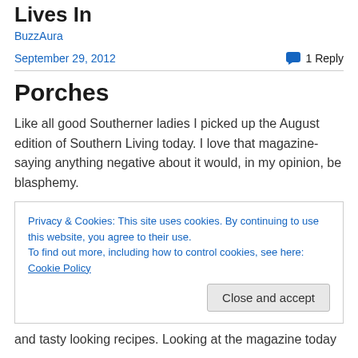Lives In
BuzzAura
September 29, 2012    1 Reply
Porches
Like all good Southerner ladies I picked up the August edition of Southern Living today. I love that magazine- saying anything negative about it would, in my opinion, be blasphemy.
Privacy & Cookies: This site uses cookies. By continuing to use this website, you agree to their use.
To find out more, including how to control cookies, see here: Cookie Policy
Close and accept
and tasty looking recipes. Looking at the magazine today